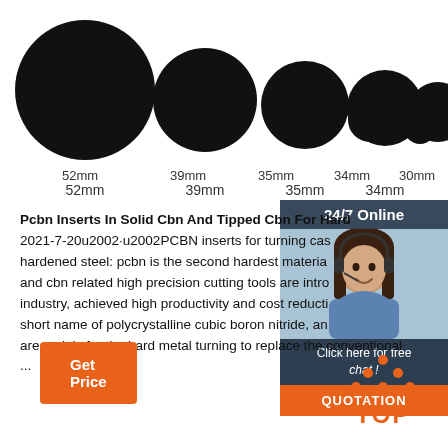[Figure (illustration): Seven decreasing black circles representing different sizes: 52mm, 39mm, 35mm, 34mm, 30mm, and two smaller unlabeled circles]
Pcbn Inserts In Solid Cbn And Tipped Cbn For Hard 2021-7-20u2002·u2002PCBN inserts for turning cast hardened steel: pcbn is the second hardest material and cbn related high precision cutting tools are intro industry, achieved high productivity and cost reducti short name of polycrystalline cubic boron nitride, an are mainly for the hard metal turning to replace the conventional ...
[Figure (photo): Customer service representative woman wearing headset, smiling, with 24/7 Online banner and Click here for free chat! text and QUOTATION button]
Get Price
[Figure (illustration): TOP icon with orange dots forming a triangle above the word TOP in orange]